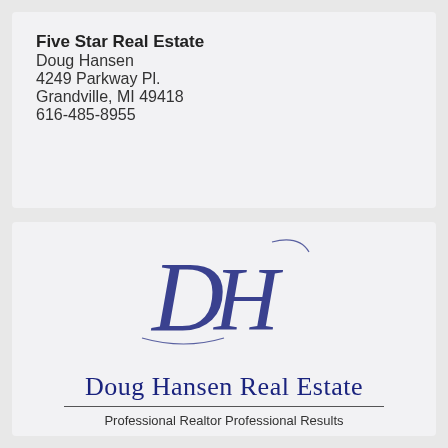Five Star Real Estate
Doug Hansen
4249 Parkway Pl.
Grandville, MI 49418
616-485-8955
[Figure (logo): DH monogram logo in cursive navy blue lettering for Doug Hansen Real Estate]
Doug Hansen Real Estate
Professional Realtor Professional Results